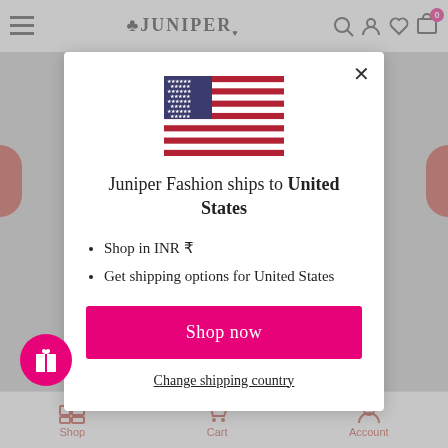[Figure (screenshot): Juniper Fashion website navigation bar with hamburger menu, Juniper logo, search, account, wishlist, and cart icons]
[Figure (screenshot): Modal popup showing US flag, shipping information for United States, shop in INR currency, shipping options, Shop now button, and Change shipping country link]
Juniper Fashion ships to United States
Shop in INR ₹
Get shipping options for United States
Shop now
Change shipping country
Shop    Cart    Account